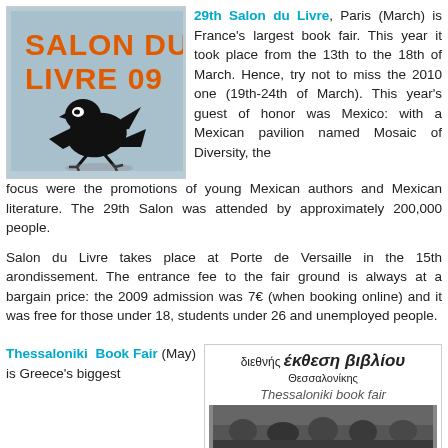[Figure (logo): Salon du Livre 09 logo with orange text and black cartoon bird figure on blue-grey background]
29th Salon du Livre, Paris (March) is France's largest book fair. This year it took place from the 13th to the 18th of March. Hence, try not to miss the 2010 one (19th-24th of March). This year's guest of honor was Mexico: with a Mexican pavilion named Mosaic of Diversity, the focus were the promotions of young Mexican authors and Mexican literature. The 29th Salon was attended by approximately 200,000 people.
Salon du Livre takes place at Porte de Versaille in the 15th arondissement. The entrance fee to the fair ground is always at a bargain price: the 2009 admission was 7€ (when booking online) and it was free for those under 18, students under 26 and unemployed people.
Thessaloniki Book Fair (May) is Greece's biggest
[Figure (photo): Thessaloniki Book Fair logo and photo: Greek text 'διεθνής έκθεση βιβλίου Θεσσαλονίκης' and 'Thessaloniki book fair' with a photo of people below]